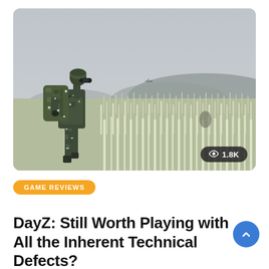[Figure (photo): DayZ game screenshot showing a soldier in camouflage gear with a large backpack and helmet, crouching in a frost-covered grass field in foggy/wintry conditions, with hills in the background. A view count badge shows '1.8K' in the bottom-right corner of the image.]
GAME REVIEWS
DayZ: Still Worth Playing with All the Inherent Technical Defects?